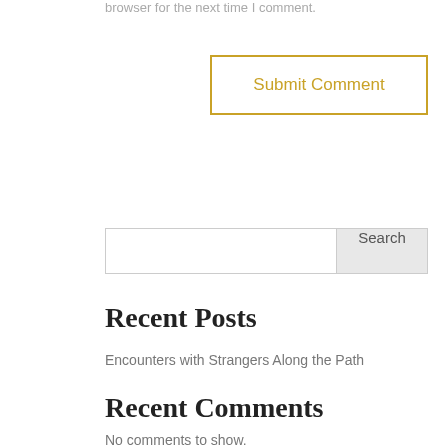browser for the next time I comment.
Submit Comment
Search
Recent Posts
Encounters with Strangers Along the Path
Recent Comments
No comments to show.